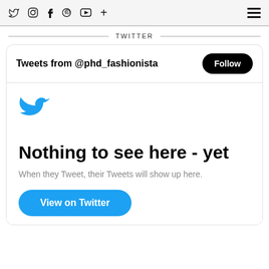Social media icons: Twitter, Instagram, Facebook, Pinterest, YouTube, Plus | Hamburger menu
TWITTER
Tweets from @phd_fashionista | Follow
[Figure (logo): Twitter bird logo in blue]
Nothing to see here - yet
When they Tweet, their Tweets will show up here.
View on Twitter